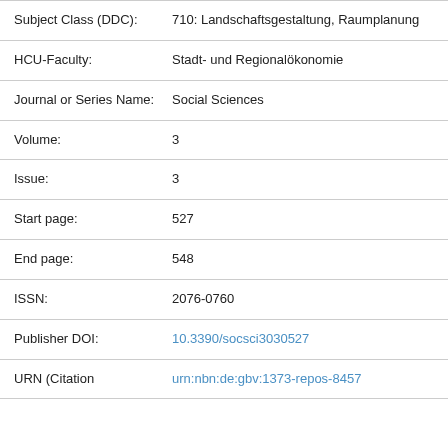| Field | Value |
| --- | --- |
| Subject Class (DDC): | 710: Landschaftsgestaltung, Raumplanung |
| HCU-Faculty: | Stadt- und Regionalökonomie |
| Journal or Series Name: | Social Sciences |
| Volume: | 3 |
| Issue: | 3 |
| Start page: | 527 |
| End page: | 548 |
| ISSN: | 2076-0760 |
| Publisher DOI: | 10.3390/socsci3030527 |
| URN (Citation | urn:nbn:de:gbv:1373-repos-8457 |